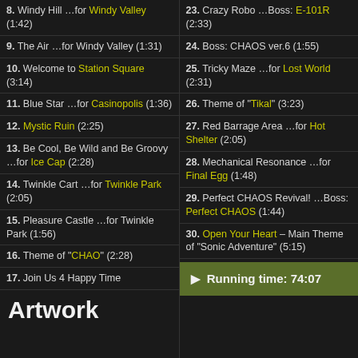8. Windy Hill …for Windy Valley (1:42)
9. The Air …for Windy Valley (1:31)
10. Welcome to Station Square (3:14)
11. Blue Star …for Casinopolis (1:36)
12. Mystic Ruin (2:25)
13. Be Cool, Be Wild and Be Groovy …for Ice Cap (2:28)
14. Twinkle Cart …for Twinkle Park (2:05)
15. Pleasure Castle …for Twinkle Park (1:56)
16. Theme of "CHAO" (2:28)
17. Join Us 4 Happy Time
Artwork
23. Crazy Robo …Boss: E-101R (2:33)
24. Boss: CHAOS ver.6 (1:55)
25. Tricky Maze …for Lost World (2:31)
26. Theme of "Tikal" (3:23)
27. Red Barrage Area …for Hot Shelter (2:05)
28. Mechanical Resonance …for Final Egg (1:48)
29. Perfect CHAOS Revival! …Boss: Perfect CHAOS (1:44)
30. Open Your Heart – Main Theme of "Sonic Adventure" (5:15)
Running time: 74:07